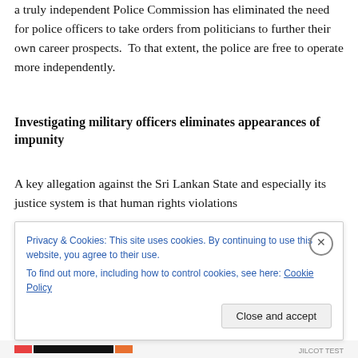a truly independent Police Commission has eliminated the need for police officers to take orders from politicians to further their own career prospects.  To that extent, the police are free to operate more independently.
Investigating military officers eliminates appearances of impunity
A key allegation against the Sri Lankan State and especially its justice system is that human rights violations
Privacy & Cookies: This site uses cookies. By continuing to use this website, you agree to their use.
To find out more, including how to control cookies, see here: Cookie Policy
Close and accept